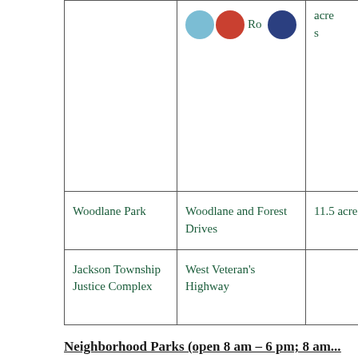| Park Name | Location | Size | Amenities |
| --- | --- | --- | --- |
|  | [circles] Ro... | acres | basketb... volleyb... |
| Woodlane Park | Woodlane and Forest Drives | 11.5 acres | soccer, |
| Jackson Township Justice Complex | West Veteran's Highway |  | soccer, playgro... Jackson... |
Neighborhood Parks (open 8 am – 6 pm; 8 am...